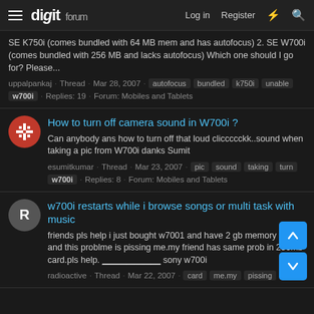digit forum | Log in | Register
SE K750i (comes bundled with 64 MB mem and has autofocus) 2. SE W700i (comes bundled with 256 MB and lacks autofocus) Which one should I go for? Please...
uppalpankaj · Thread · Mar 28, 2007 · autofocus bundled k750i unable w700i · Replies: 19 · Forum: Mobiles and Tablets
How to turn off camera sound in W700i ?
Can anybody ans how to turn off that loud cliccccckk..sound when taking a pic from W700i danks Sumit
esumitkumar · Thread · Mar 23, 2007 · pic sound taking turn w700i · Replies: 8 · Forum: Mobiles and Tablets
w700i restarts while i browse songs or multi task with music
friends pls help i just bought w7001 and have 2 gb memory card and this problme is pissing me.my friend has same prob in 256mb card.pls help. ____________ sony w700i
radioactive · Thread · Mar 22, 2007 · card me.my pissing